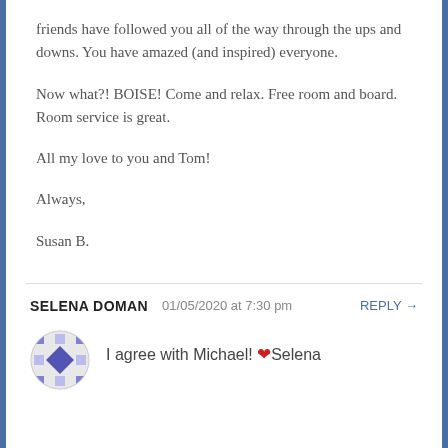friends have followed you all of the way through the ups and downs. You have amazed (and inspired) everyone.
Now what?! BOISE! Come and relax. Free room and board. Room service is great.
All my love to you and Tom!
Always,
Susan B.
SELENA DOMAN  01/05/2020 at 7:30 pm  REPLY →
I agree with Michael! ❤ Selena